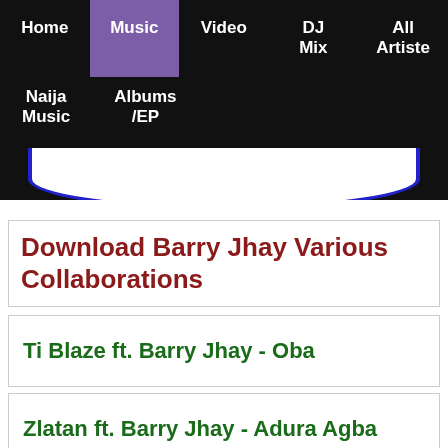Home | Music | Video | DJ Mix | All Artiste | Naija Music | Albums /EP
Download Barry Jhay Various Collaborations
Ti Blaze ft. Barry Jhay - Oba
Zlatan ft. Barry Jhay - Adura Agba